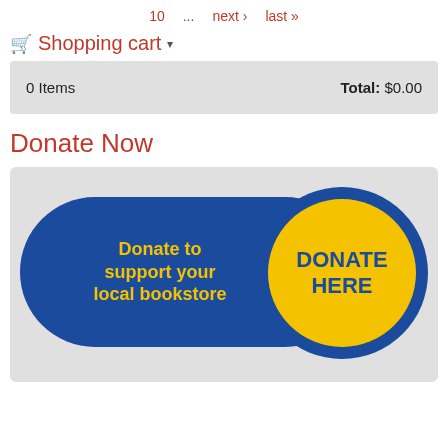10  ...  next ›  last »
🛒 Shopping cart ▾
| 0 Items | Total: $0.00 |
Donate Now
[Figure (illustration): Donation banner graphic showing a blue rounded rectangle with yellow text 'Donate to support your local bookstore' and a yellow circle with blue text 'DONATE HERE']